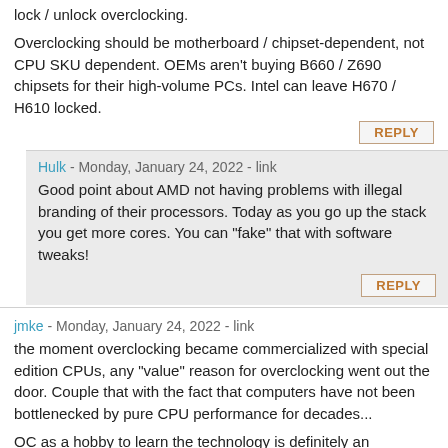lock / unlock overclocking.
Overclocking should be motherboard / chipset-dependent, not CPU SKU dependent. OEMs aren't buying B660 / Z690 chipsets for their high-volume PCs. Intel can leave H670 / H610 locked.
REPLY
Hulk - Monday, January 24, 2022 - link
Good point about AMD not having problems with illegal branding of their processors. Today as you go up the stack you get more cores. You can "fake" that with software tweaks!
REPLY
jmke - Monday, January 24, 2022 - link
the moment overclocking became commercialized with special edition CPUs, any "value" reason for overclocking went out the door. Couple that with the fact that computers have not been bottlenecked by pure CPU performance for decades...
OC as a hobby to learn the technology is definitely an interesting path to fool. But it is a luxury at the top end of the scale.
REPLY
jmke - Monday, January 24, 2022 - link